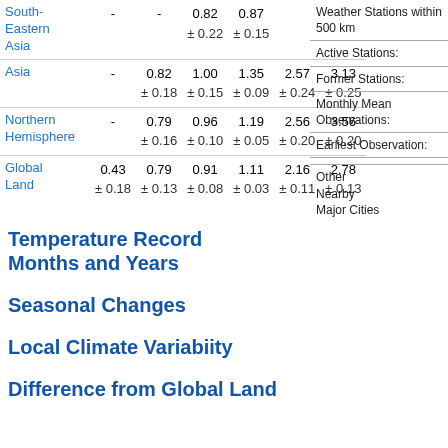| Region | Col1 | Col2 | Col3 | Col4 | Col5 | Col6 |
| --- | --- | --- | --- | --- | --- | --- |
| South-Eastern Asia | - | - | 0.82 ± 0.22 | 0.87 ± 0.15 | 1.10 ± 0.47 | 1.59 ± 0.38 |
| Asia | - | 0.82 ± 0.18 | 1.00 ± 0.15 | 1.35 ± 0.09 | 2.57 ± 0.24 | 3.13 ± 0.25 |
| Northern Hemisphere | - | 0.79 ± 0.16 | 0.96 ± 0.10 | 1.19 ± 0.05 | 2.56 ± 0.20 | 3.56 ± 0.20 |
| Global Land | 0.43 ± 0.18 | 0.79 ± 0.13 | 0.91 ± 0.08 | 1.11 ± 0.03 | 2.16 ± 0.11 | 2.78 ± 0.13 |
Temperature Record Months and Years
Seasonal Changes
Local Climate Variabiity
Difference from Global Land
Weather Stations within 500 km
Active Stations:
Former Stations:
Monthly Mean Observations:
Earliest Observation:
Other Nearby Major Cities